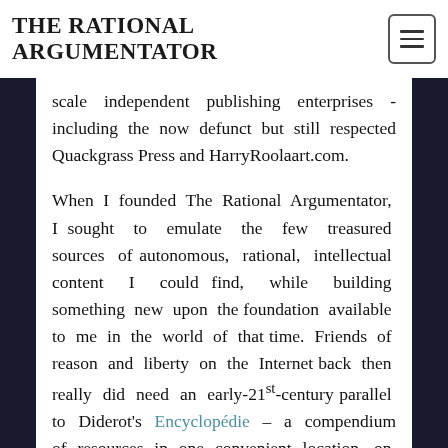THE RATIONAL ARGUMENTATOR
scale independent publishing enterprises - including the now defunct but still respected Quackgrass Press and HarryRoolaart.com.

When I founded The Rational Argumentator, I sought to emulate the few treasured sources of autonomous, rational, intellectual content I could find, while building something new upon the foundation available to me in the world of that time. Friends of reason and liberty on the Internet back then really did need an early-21st-century parallel to Diderot's Encyclopédie – a compendium of resources in one convenient location, on which they could rely for quality discourse and genuine enlightenment. TRA has certainly grown in both